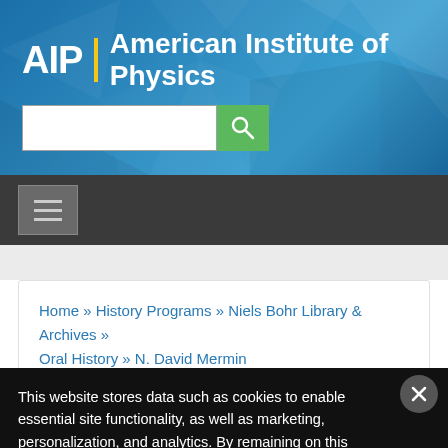[Figure (logo): AIP | American Institute of Physics logo with yellow divider on blue geometric background with search bar]
[Figure (screenshot): Navigation hamburger menu button on dark gray bar]
Home » History Programs » Niels Bohr Library & Archives » Oral History » N. David Mermin
This website stores data such as cookies to enable essential site functionality, as well as marketing, personalization, and analytics. By remaining on this website you indicate your consent. Privacy Policy